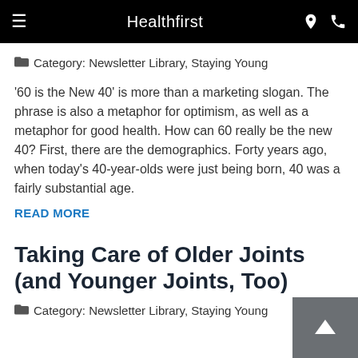Healthfirst
Category: Newsletter Library, Staying Young
'60 is the New 40' is more than a marketing slogan. The phrase is also a metaphor for optimism, as well as a metaphor for good health. How can 60 really be the new 40? First, there are the demographics. Forty years ago, when today's 40-year-olds were just being born, 40 was a fairly substantial age.
READ MORE
Taking Care of Older Joints (and Younger Joints, Too)
Category: Newsletter Library, Staying Young